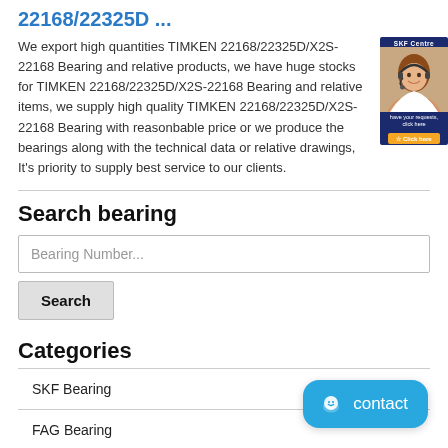22168/22325D ...
We export high quantities TIMKEN 22168/22325D/X2S-22168 Bearing and relative products, we have huge stocks for TIMKEN 22168/22325D/X2S-22168 Bearing and relative items, we supply high quality TIMKEN 22168/22325D/X2S-22168 Bearing with reasonbable price or we produce the bearings along with the technical data or relative drawings, It's priority to supply best service to our clients.
[Figure (photo): Advertisement banner with SKF branding showing a female customer service representative with headset, with a call-to-action button]
Search bearing
Bearing Number...
Search
Categories
SKF Bearing
FAG Bearing
TIMKEN Bearing
[Figure (other): Blue contact button with chat icon and 'contact' label]